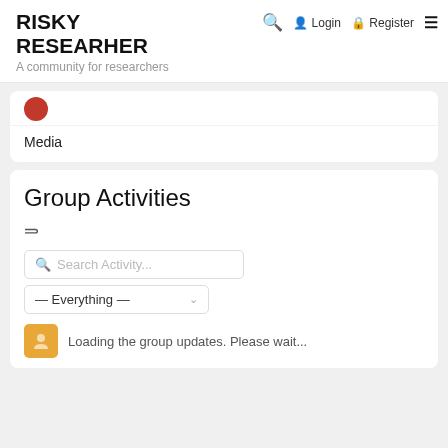RISKY RESEARHER — A community for researchers
Media
Group Activities
Search Activity...
— Everything —
Loading the group updates. Please wait...